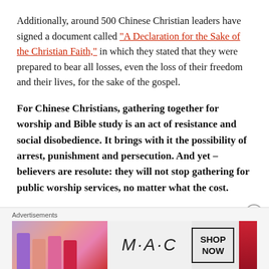Additionally, around 500 Chinese Christian leaders have signed a document called “A Declaration for the Sake of the Christian Faith,” in which they stated that they were prepared to bear all losses, even the loss of their freedom and their lives, for the sake of the gospel.
For Chinese Christians, gathering together for worship and Bible study is an act of resistance and social disobedience. It brings with it the possibility of arrest, punishment and persecution. And yet – believers are resolute: they will not stop gathering for public worship services, no matter what the cost.
[Figure (other): Advertisement banner showing MAC cosmetics lipsticks with text SHOP NOW]